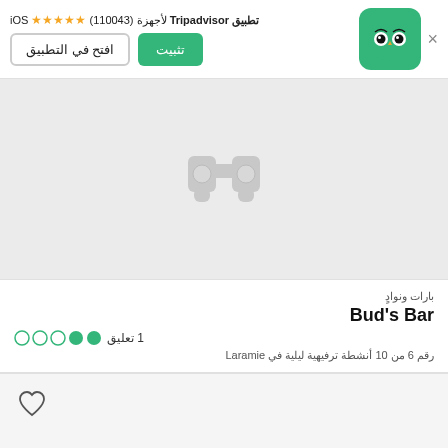[Figure (screenshot): Tripadvisor app install banner with owl logo, star rating (110043 reviews), install and open buttons, iOS label, and close button]
[Figure (illustration): Gray placeholder area with a faint binoculars icon in the center]
بارات ونواد
Bud's Bar
1 تعليق
رقم 6 من 10 أنشطة ترفيهية ليلية في Laramie
[Figure (illustration): Heart (favorite) outline icon at the bottom left]